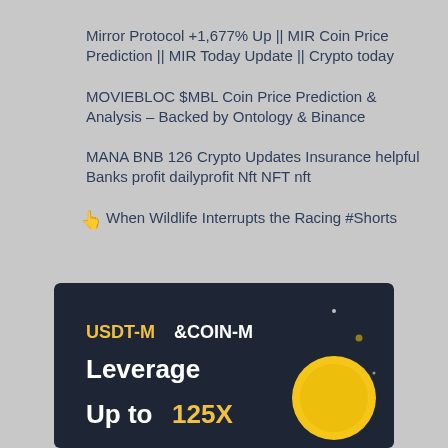Mirror Protocol +1,677% Up || MIR Coin Price Prediction || MIR Today Update || Crypto today
MOVIEBLOC $MBL Coin Price Prediction & Analysis – Backed by Ontology & Binance
MANA BNB 126 Crypto Updates Insurance helpful Banks profit dailyprofit Nft NFT nft
👆 When Wildlife Interrupts the Racing #Shorts
[Figure (screenshot): Dark-themed promotional image showing 'USDT-M&COIN-M Leverage Up to 125X' with a golden coin graphic and star decorations on a dark navy background.]